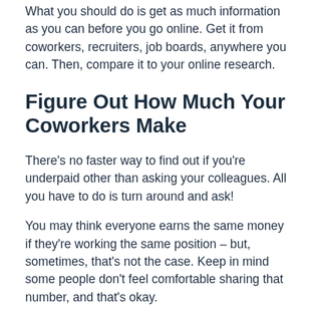What you should do is get as much information as you can before you go online. Get it from coworkers, recruiters, job boards, anywhere you can. Then, compare it to your online research.
Figure Out How Much Your Coworkers Make
There's no faster way to find out if you're underpaid other than asking your colleagues. All you have to do is turn around and ask!
You may think everyone earns the same money if they're working the same position – but, sometimes, that's not the case. Keep in mind some people don't feel comfortable sharing that number, and that's okay.
Remember to take seniority and specific job titles into account: